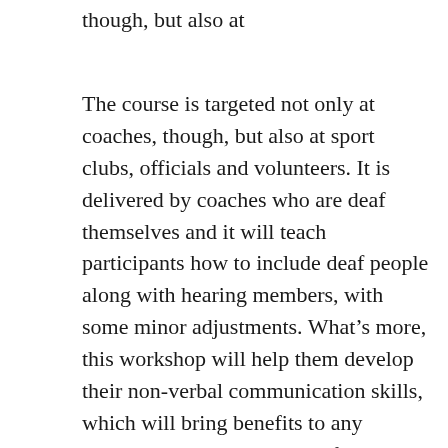though, but also at
The course is targeted not only at coaches, though, but also at sport clubs, officials and volunteers. It is delivered by coaches who are deaf themselves and it will teach participants how to include deaf people along with hearing members, with some minor adjustments. What’s more, this workshop will help them develop their non-verbal communication skills, which will bring benefits to any training session, regardless if it includes dead people or not.Some key points of the course include understanding deafness, barriers to participation, practical adaptations to support deaf participants, action planning for deaf participants, and communication tools.